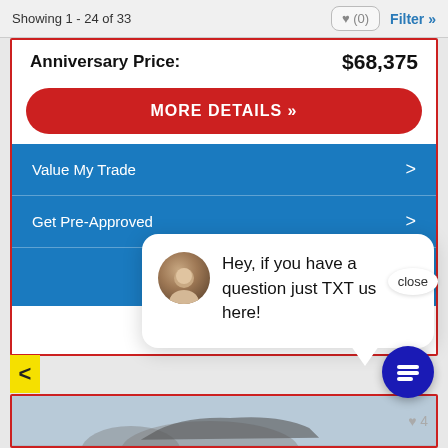Showing 1 - 24 of 33
Anniversary Price: $68,375
MORE DETAILS »
Value My Trade >
Get Pre-Approved >
close
Hey, if you have a question just TXT us here!
[Figure (screenshot): Bottom of vehicle listing card showing partial car photo]